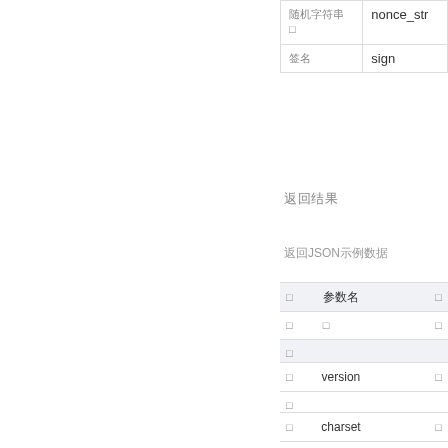| 字段名 | API参数名 |
| --- | --- |
| 随机字符串 | nonce_str |
| 签名 | sign |
返回结果
返回JSON示例数据
| 参数 | 参数名 | 类型 |
| --- | --- | --- |
|  | 参数名 |  |
|  | version |  |
|  | charset |  |